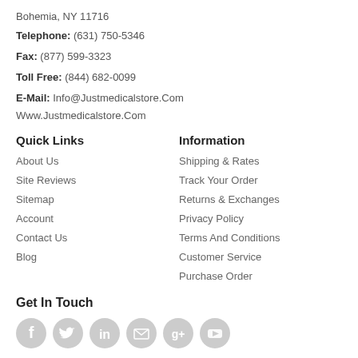Bohemia, NY 11716
Telephone: (631) 750-5346
Fax: (877) 599-3323
Toll Free: (844) 682-0099
E-Mail: Info@Justmedicalstore.Com
Www.Justmedicalstore.Com
Quick Links
About Us
Site Reviews
Sitemap
Account
Contact Us
Blog
Information
Shipping & Rates
Track Your Order
Returns & Exchanges
Privacy Policy
Terms And Conditions
Customer Service
Purchase Order
Get In Touch
[Figure (other): Social media icons: Facebook, Twitter, LinkedIn, Email, Google+, YouTube]